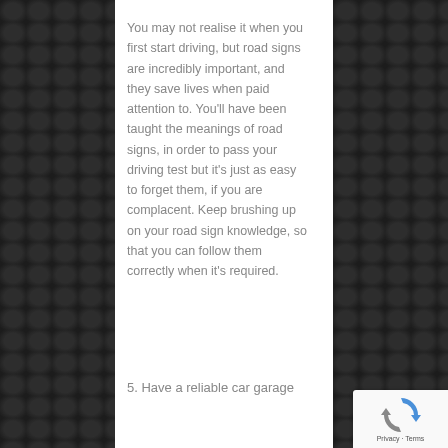You may not realise it when you first start driving, but road signs are incredibly important, and they save lives when paid attention to. You'll have been taught the meanings of road signs, in order to pass your driving test but it's just as easy to forget them, if you are complacent. Keep brushing up on your road sign knowledge, so that you can follow them correctly when it's required.
5. Have a reliable car garage